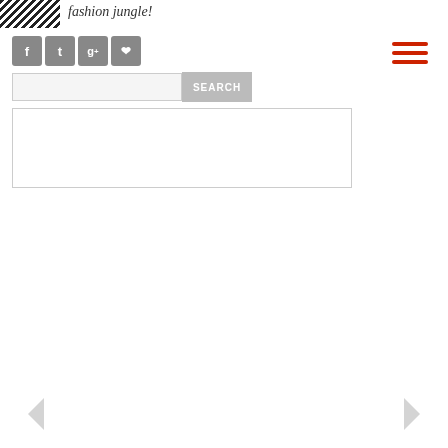[Figure (photo): Partial view of a person wearing a zebra-stripe pattern top]
fashion jungle!
[Figure (other): Social media icons: Facebook, Twitter, Google+, Pinterest]
[Figure (other): Hamburger menu icon with three red horizontal lines]
[Figure (other): Search input box with SEARCH button]
[Figure (other): Empty content/advertisement box with light border]
[Figure (other): Left navigation arrow]
[Figure (other): Right navigation arrow]